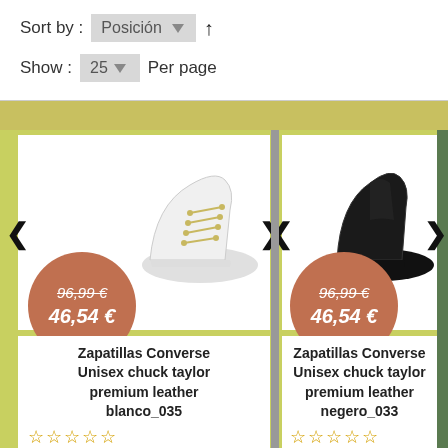Sort by : Posición ▼ ↑
Show : 25 ▼ Per page
[Figure (photo): White Converse high-top sneaker with price badge showing 96,99€ (crossed out) and 46,54€]
[Figure (photo): Black Converse high-top sneaker with price badge showing 96,99€ (crossed out) and 46,54€]
Zapatillas Converse Unisex chuck taylor premium leather blanco_035
☆☆☆☆☆
AÑADIR AL CARRITO
Zapatillas Converse Unisex chuck taylor premium leather negero_033
☆☆☆☆☆
AÑADIR AL CARRITO